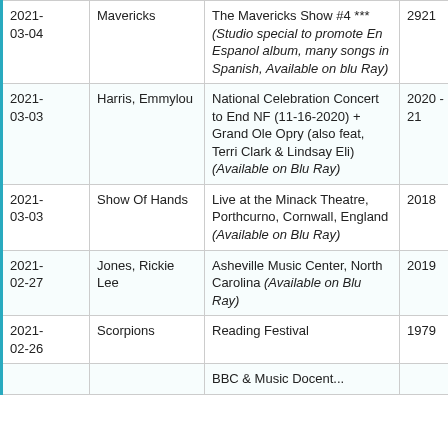| Date | Artist | Concert/Show | Year | Duration |
| --- | --- | --- | --- | --- |
| 2021-03-04 | Mavericks | The Mavericks Show #4 *** (Studio special to promote En Espanol album, many songs in Spanish, Available on blu Ray) | 2921 | 90 mins |
| 2021-03-03 | Harris, Emmylou | National Celebration Concert to End NF (11-16-2020) + Grand Ole Opry (also feat, Terri Clark & Lindsay Eli) (Available on Blu Ray) | 2020 - 21 | 105 mins |
| 2021-03-03 | Show Of Hands | Live at the Minack Theatre, Porthcurno, Cornwall, England (Available on Blu Ray) | 2018 | 93 mins |
| 2021-02-27 | Jones, Rickie Lee | Asheville Music Center, North Carolina (Available on Blu Ray) | 2019 | 99 mins |
| 2021-02-26 | Scorpions | Reading Festival | 1979 | 33 mins |
|  |  | BBC & Music Docent... |  |  |